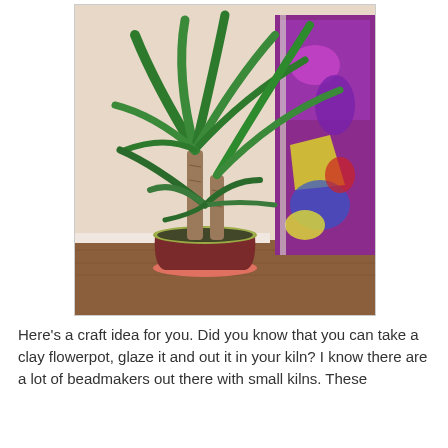[Figure (photo): A tall dracaena (corn plant) with multiple trunks and long green leaves, potted in a brown ceramic flower pot with a yellow/green rim and a salmon-colored saucer. The plant is placed on a wooden floor against a beige wall, next to a colorful abstract painting with purple, blue, yellow, and red hues.]
Here's a craft idea for you. Did you know that you can take a clay flowerpot, glaze it and out it in your kiln? I know there are a lot of beadmakers out there with small kilns. These